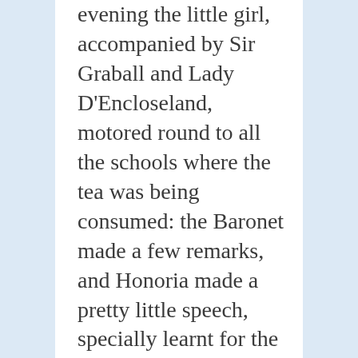evening the little girl, accompanied by Sir Graball and Lady D'Encloseland, motored round to all the schools where the tea was being consumed: the Baronet made a few remarks, and Honoria made a pretty little speech, specially learnt for the occasion, at each place, and they were loudly cheered and greatly admired in response. The enthusiasm was not confined to the boys and girls, for while the